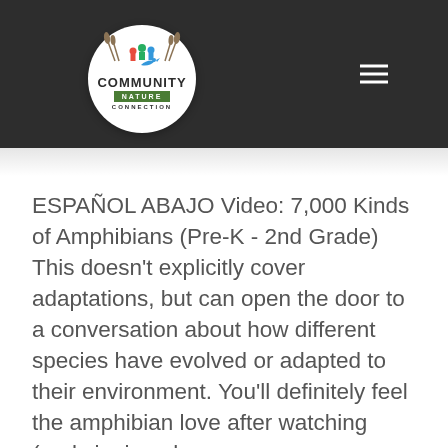[Figure (logo): Community Nature Connection circular logo with figures and bird, green banner reading NATURE, dark background header with hamburger menu icon]
ESPAÑOL ABAJO Video: 7,000 Kinds of Amphibians (Pre-K - 2nd Grade) This doesn't explicitly cover adaptations, but can open the door to a conversation about how different species have evolved or adapted to their environment. You'll definitely feel the amphibian love after watching (and singing along